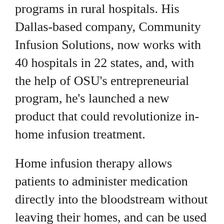programs in rural hospitals. His Dallas-based company, Community Infusion Solutions, now works with 40 hospitals in 22 states, and, with the help of OSU's entrepreneurial program, he's launched a new product that could revolutionize in-home infusion treatment.
Home infusion therapy allows patients to administer medication directly into the bloodstream without leaving their homes, and can be used to treat a variety of conditions, from cancer to neurological conditions or disorders of the nervous system. According to a study by the National Home Infusion Association, in 2019 home infusion and specialty providers cared for more than 3 million patients in the United States, representing a 300% increase since the last